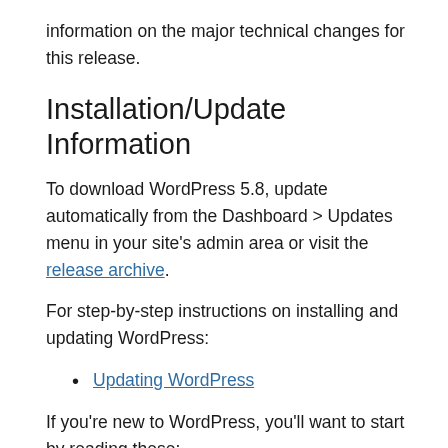information on the major technical changes for this release.
Installation/Update Information
To download WordPress 5.8, update automatically from the Dashboard > Updates menu in your site's admin area or visit the release archive.
For step-by-step instructions on installing and updating WordPress:
Updating WordPress
If you're new to WordPress, you'll want to start by reading these:
New To WordPress – Where to Start
First Steps With WordPress or Upgrading